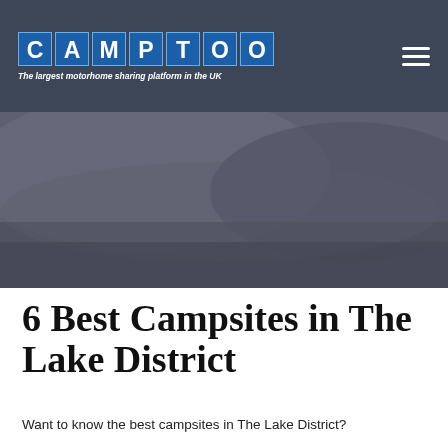CAMPTOO — The largest motorhome sharing platform in the UK
[Figure (photo): Large hero image of a Lake District landscape, muted dark tones, outdoor camping scenery]
6 Best Campsites in The Lake District
Want to know the best campsites in The Lake District?